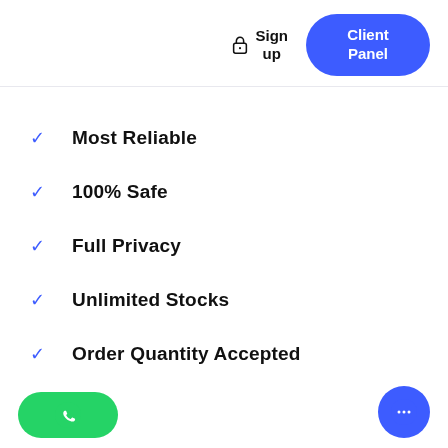Sign up | Client Panel
Most Reliable
100% Safe
Full Privacy
Unlimited Stocks
Order Quantity Accepted